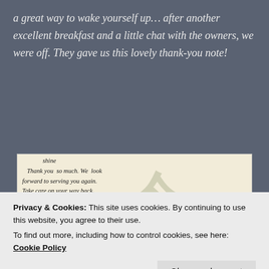a great way to wake yourself up... after another excellent breakfast and a little chat with the owners, we were off. They gave us this lovely thank-you note!
[Figure (photo): A handwritten thank-you note from Mikuniya Ryokan (Kinosaki Spa). The note reads: 'shine Thank you so much. We look forward to serving you again. Take care on your way back.' with Japanese text and contact details for KINOSAKI SPA, MIKUNIYA RYOKAN including phone, fax and Facebook.]
Privacy & Cookies: This site uses cookies. By continuing to use this website, you agree to their use. To find out more, including how to control cookies, see here: Cookie Policy
than a week